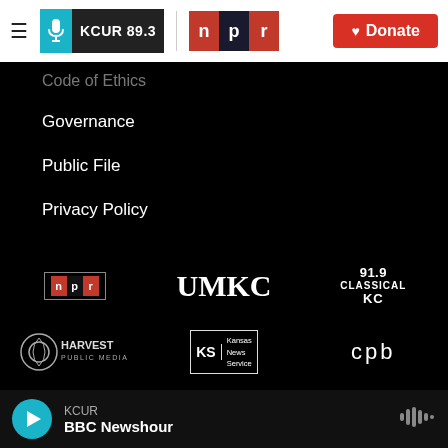[Figure (logo): KCUR 89.3 and NPR logos with Donate button in top navigation bar]
Code of Ethics
Governance
Public File
Privacy Policy
[Figure (logo): Partner logos: NPR, UMKC, 91.9 Classical KC, Harvest Public Media, Kansas News Service, cpb]
[Figure (other): Audio player bar: KCUR / BBC Newshour with play button and audio wave icon]